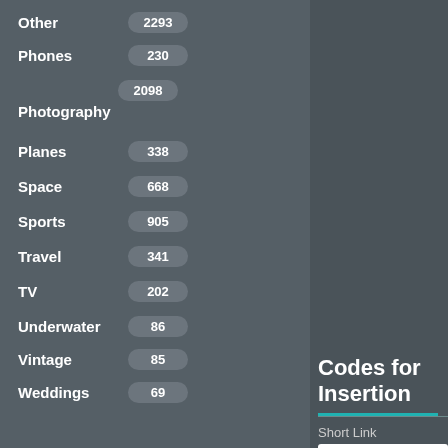Other 2293
Phones 230
Photography 2098
Planes 338
Space 668
Sports 905
Travel 341
TV 202
Underwater 86
Vintage 85
Weddings 69
Codes for Insertion
Short Link
http://7-themes.com/7007725-mustang-shelby
HTML
<a href="http://7-themes.com/7007725-musta
BBCode
[URL=http://7-themes.com/7007725-mustang